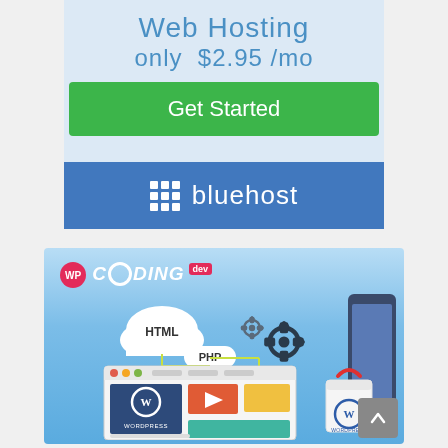[Figure (infographic): Bluehost web hosting advertisement banner showing 'Web Hosting only $2.95/mo' with a green 'Get Started' button and blue Bluehost logo bar at bottom]
[Figure (illustration): WPCodingDev banner with blue gradient background showing web development illustration: browser window with WordPress logo, video player, colored content blocks, HTML and PHP speech bubbles, gear icons, and WP Coding Dev logo in top left corner. A scroll-to-top button is overlaid at bottom right.]